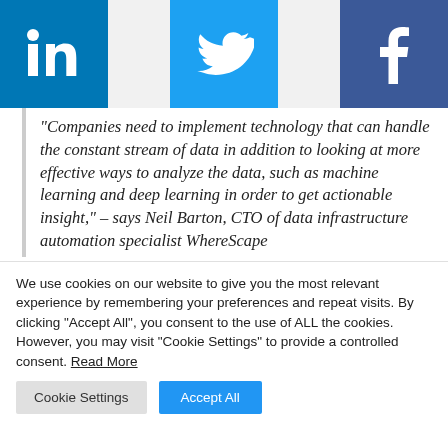[Figure (logo): LinkedIn, Twitter, and Facebook social media icons displayed as colored squares with white logos]
“Companies need to implement technology that can handle the constant stream of data in addition to looking at more effective ways to analyze the data, such as machine learning and deep learning in order to get actionable insight,” – says Neil Barton, CTO of data infrastructure automation specialist WhereScape
We use cookies on our website to give you the most relevant experience by remembering your preferences and repeat visits. By clicking “Accept All”, you consent to the use of ALL the cookies. However, you may visit “Cookie Settings” to provide a controlled consent. Read More
Cookie Settings  Accept All